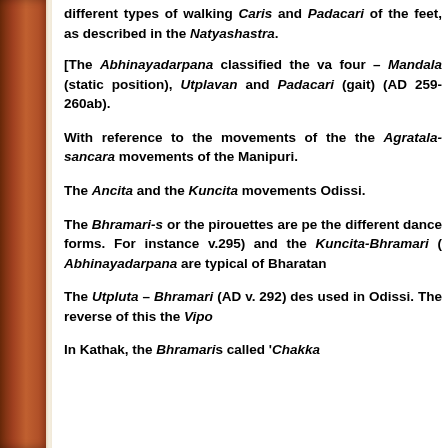different types of walking Caris and Padacari of the feet, as described in the Natyashastra.
[The Abhinayadarpana classified the va four – Mandala (static position), Utplavan and Padacari (gait) (AD 259-260ab).
With reference to the movements of the the Agratala-sancara movements of the Manipuri.
The Ancita and the Kuncita movements Odissi.
The Bhramari-s or the pirouettes are pe the different dance forms. For instance v.295) and the Kuncita-Bhramari ( Abhinayadarpana are typical of Bharatan
The Utpluta – Bhramari (AD v. 292) des used in Odissi. The reverse of this the Vipo
In Kathak, the Bhramaris called 'Chakka